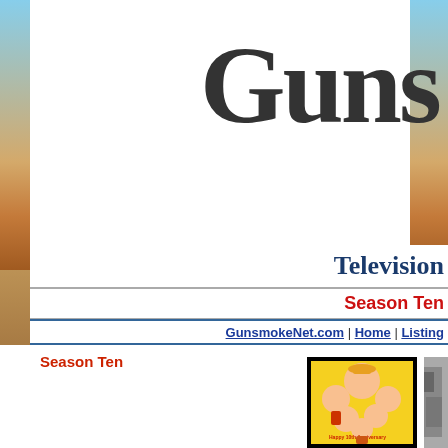Gunsmoke
Television
Season Ten
GunsmokeNet.com | Home | Listing
Season Ten
[Figure (illustration): Cartoon caricature illustration of the Gunsmoke cast celebrating the 10th Anniversary, with characters in western attire on a yellow background with text 'Happy 10th Anniversary']
[Figure (photo): Partial black and white photo of a person visible at right edge]